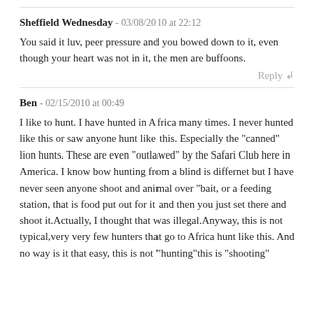Sheffield Wednesday - 03/08/2010 at 22:12
You said it luv, peer pressure and you bowed down to it, even though your heart was not in it, the men are buffoons.
Reply ↲
Ben - 02/15/2010 at 00:49
I like to hunt. I have hunted in Africa many times. I never hunted like this or saw anyone hunt like this. Especially the "canned" lion hunts. These are even "outlawed" by the Safari Club here in America. I know bow hunting from a blind is differnet but I have never seen anyone shoot and animal over "bait, or a feeding station, that is food put out for it and then you just set there and shoot it.Actually, I thought that was illegal.Anyway, this is not typical,very very few hunters that go to Africa hunt like this. And no way is it that easy, this is not "hunting"this is "shooting"